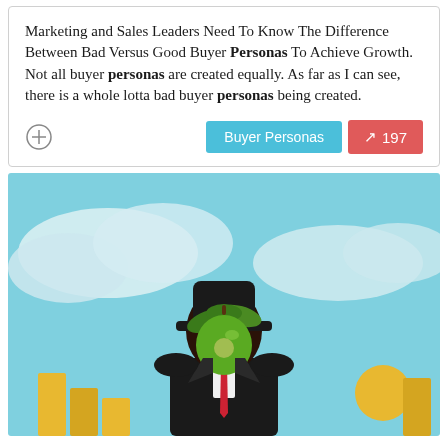Marketing and Sales Leaders Need To Know The Difference Between Bad Versus Good Buyer Personas To Achieve Growth. Not all buyer personas are created equally. As far as I can see, there is a whole lotta bad buyer personas being created.
[Figure (illustration): Illustration inspired by Magritte's Son of Man: a man in a dark suit and bowler hat with a large green apple (with leaves) obscuring his face, standing against a light blue sky with white clouds, with gold/yellow geometric shapes in the foreground.]